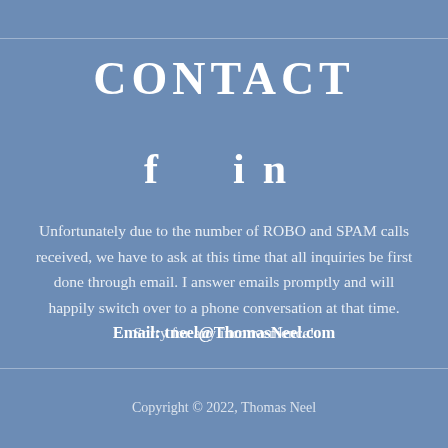CONTACT
[Figure (other): Social media icons: Facebook (f) and LinkedIn (in)]
Unfortunately due to the number of ROBO and SPAM calls received, we have to ask at this time that all inquiries be first done through email. I answer emails promptly and will happily switch over to a phone conversation at that time. Sorry for any inconvenience!
Email: tneel@ThomasNeel.com
Copyright © 2022, Thomas Neel